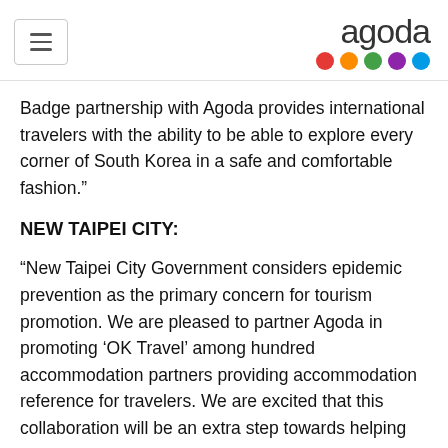agoda [logo with colored dots]
Badge partnership with Agoda provides international travelers with the ability to be able to explore every corner of South Korea in a safe and comfortable fashion.”
NEW TAIPEI CITY:
“New Taipei City Government considers epidemic prevention as the primary concern for tourism promotion. We are pleased to partner Agoda in promoting ‘OK Travel’ among hundred accommodation partners providing accommodation reference for travelers. We are excited that this collaboration will be an extra step towards helping us welcome more accommodations to participate, and build New Taipei City a safer tourist destination ahead